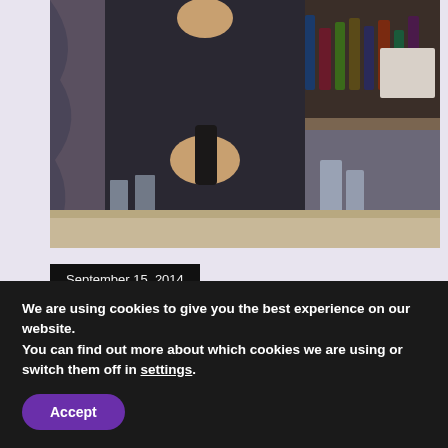[Figure (photo): A bartender in a dark jacket pouring drinks at a bar, with glasses and bottles visible in the background.]
September 15, 2014
You Can Be Better, Wherever You Work.
I hear so many excuses from bartenders about why they work the way they do. Some blame the customers who come to their bar, some [...]
We are using cookies to give you the best experience on our website.
You can find out more about which cookies we are using or switch them off in settings.
Accept